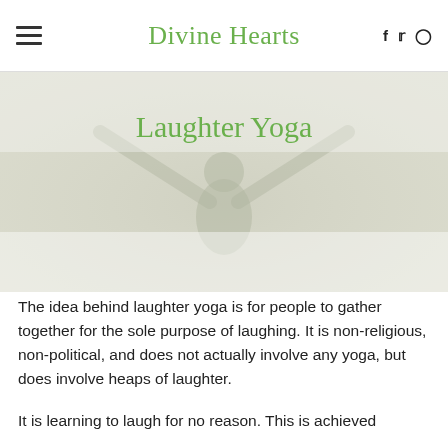Divine Hearts
Laughter Yoga
[Figure (photo): A person with arms raised wide against a light background, silhouette style, faded/washed out.]
The idea behind laughter yoga is for people to gather together for the sole purpose of laughing. It is non-religious, non-political, and does not actually involve any yoga, but does involve heaps of laughter.
It is learning to laugh for no reason. This is achieved